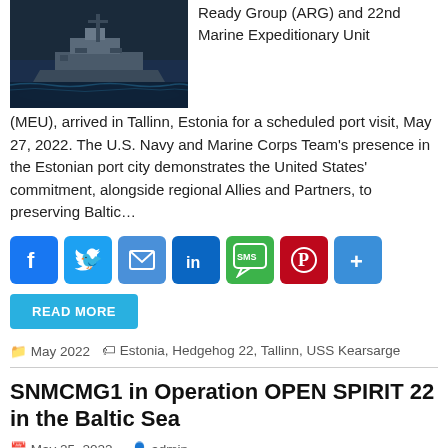[Figure (photo): Aerial or side view of a naval ship (USS Kearsarge) on dark water]
Ready Group (ARG) and 22nd Marine Expeditionary Unit (MEU), arrived in Tallinn, Estonia for a scheduled port visit, May 27, 2022. The U.S. Navy and Marine Corps Team's presence in the Estonian port city demonstrates the United States' commitment, alongside regional Allies and Partners, to preserving Baltic…
[Figure (infographic): Social share buttons: Facebook, Twitter, Email, LinkedIn, SMS, Pinterest, Share]
READ MORE
May 2022   Estonia, Hedgehog 22, Tallinn, USS Kearsarge
SNMCMG1 in Operation OPEN SPIRIT 22 in the Baltic Sea
May 25, 2022   admin